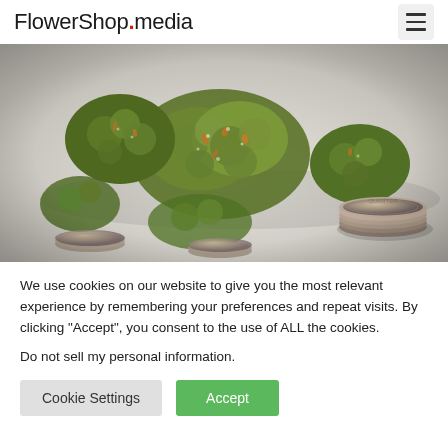FlowerShop.media
[Figure (photo): Close-up photo of cannabis flower buds and stacked coins on a white surface]
We use cookies on our website to give you the most relevant experience by remembering your preferences and repeat visits. By clicking “Accept”, you consent to the use of ALL the cookies.
Do not sell my personal information.
Cookie Settings | Accept